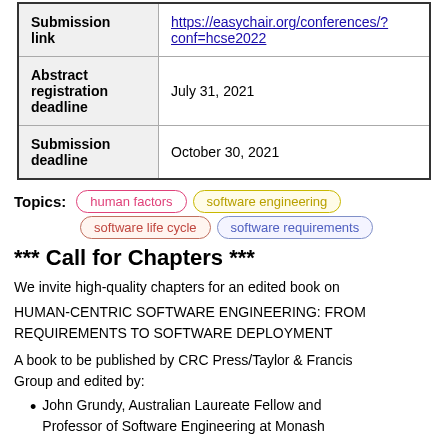|  |  |
| --- | --- |
| Submission link | https://easychair.org/conferences/?conf=hcse2022 |
| Abstract registration deadline | July 31, 2021 |
| Submission deadline | October 30, 2021 |
Topics: human factors  software engineering  software life cycle  software requirements
*** Call for Chapters ***
We invite high-quality chapters for an edited book on
HUMAN-CENTRIC SOFTWARE ENGINEERING: FROM REQUIREMENTS TO SOFTWARE DEPLOYMENT
A book to be published by CRC Press/Taylor & Francis Group and edited by:
John Grundy, Australian Laureate Fellow and Professor of Software Engineering at Monash